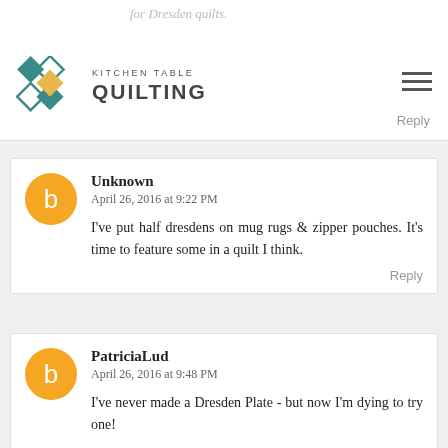for Dresden quilts. KITCHEN TABLE QUILTING
Unknown
April 26, 2016 at 9:22 PM
I've put half dresdens on mug rugs & zipper pouches. It's time to feature some in a quilt I think.
PatriciaLud
April 26, 2016 at 9:48 PM
I've never made a Dresden Plate - but now I'm dying to try one!